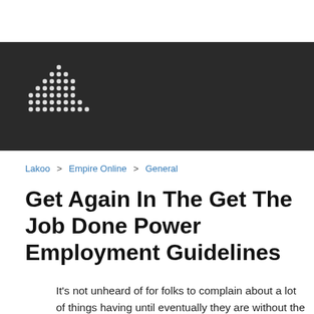[Figure (logo): Pixel/dot art logo resembling a bar chart or figure shape made of white dots on dark background]
Lakoo > Empire Online > General
Get Again In The Get The Job Done Power Employment Guidelines
It's not unheard of for folks to complain about a lot of things having until eventually they are without the need of it. Then the task that experienced won't glimpse that poor. If you are unemployed don...